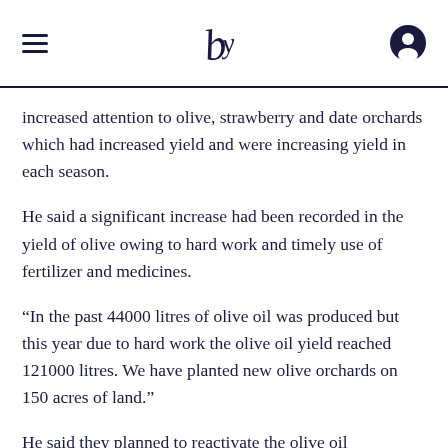logo and navigation
increased attention to olive, strawberry and date orchards which had increased yield and were increasing yield in each season.
He said a significant increase had been recorded in the yield of olive owing to hard work and timely use of fertilizer and medicines.
“In the past 44000 litres of olive oil was produced but this year due to hard work the olive oil yield reached 121000 litres. We have planted new olive orchards on 150 acres of land.”
He said they planned to reactivate the olive oil processing plant in a standard manner due to increasing yield of olive oil.